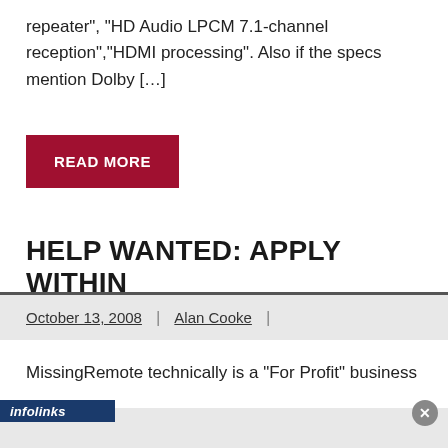repeater", "HD Audio LPCM 7.1-channel reception","HDMI processing". Also if the specs mention Dolby […]
READ MORE
HELP WANTED: APPLY WITHIN
October 13, 2008 | Alan Cooke |
MissingRemote technically is a "For Profit" business
infolinks